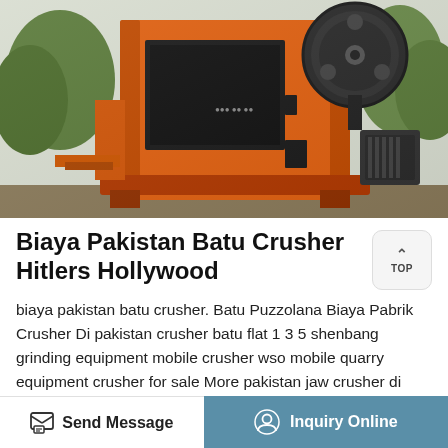[Figure (photo): Orange jaw crusher machine photographed outdoors, showing the large flywheel, main body frame, and motor. Trees visible in background.]
Biaya Pakistan Batu Crusher Hitlers Hollywood
biaya pakistan batu crusher. Batu Puzzolana Biaya Pabrik Crusher Di pakistan crusher batu flat 1 3 5 shenbang grinding equipment mobile crusher wso mobile quarry equipment crusher for sale More pakistan jaw crusher di indonesia starchitchatin dalam batu pabrik jaw crusher di tajikistan